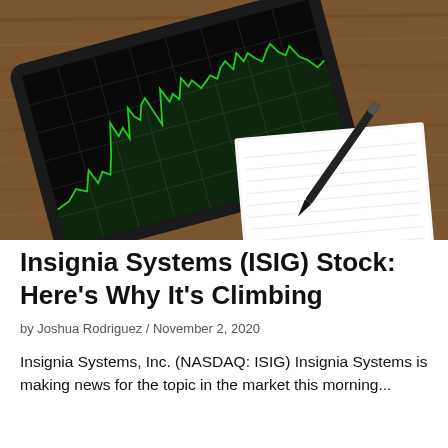[Figure (photo): A tablet displaying a green stock chart on a dark background, placed on a wooden table next to a white notepad and a black pen/stylus]
Insignia Systems (ISIG) Stock: Here's Why It's Climbing
by Joshua Rodriguez / November 2, 2020
Insignia Systems, Inc. (NASDAQ: ISIG) Insignia Systems is making news for the topic in the market this morning...